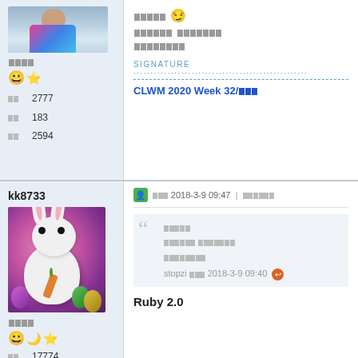[Figure (photo): Avatar image of a person in colorful clothing, partial crop showing upper body]
□□□□
😀⭐
□□  2777
□□  183
□□  2594
□□□□□ 😏
□□□□□□ □□□□□□□
□□□□□□□□
SIGNATURE
CLWM 2020 Week 32/□□□
kk8733
□□□ 2018-3-9 09:47  |  □□□□□□
[Figure (photo): 3D rendered white rabbit character holding a carrot, with colorful Easter eggs in background]
□□□□
😀🌙⭐
□□  17774
Quote: □□□□□ / □□□□□□ □□□□□□□ / □□□□□□□□  stopzi □□□ 2018-3-9 09:40
Ruby 2.0